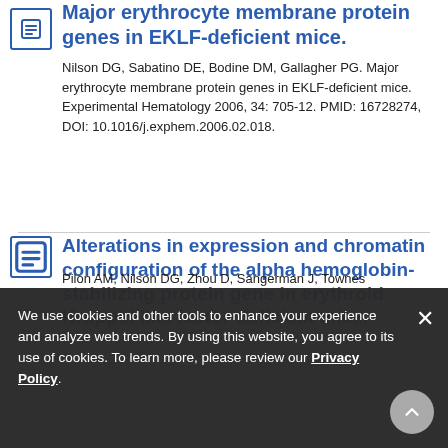Major erythrocyte membrane protein genes in EKLF-deficient mice.
Nilson DG, Sabatino DE, Bodine DM, Gallagher PG. Major erythrocyte membrane protein genes in EKLF-deficient mice. Experimental Hematology 2006, 34: 705-12. PMID: 16728274, DOI: 10.1016/j.exphem.2006.02.018.
Alterations in expression and chromatin configuration of the alpha hemoglobin-stabilizing protein gene in erythroid Kruppel-like factor-deficient mice.
Pilon AM, Nilson DG, Zhou D, Sangerman J, Townes